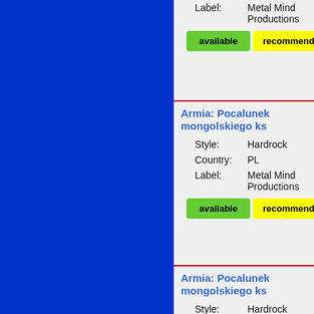[Figure (other): Blue sidebar panel on the left side of the page]
Label: Metal Mind Productions
available   recommended
Armia: Pocalunek mongolskiego ks
Style: Hardrock
Country: PL
Label: Metal Mind Productions
available   recommended
Armia: Pocalunek mongolskiego ks
Style: Hardrock
Country: PL
Label: Metal Mind Productions